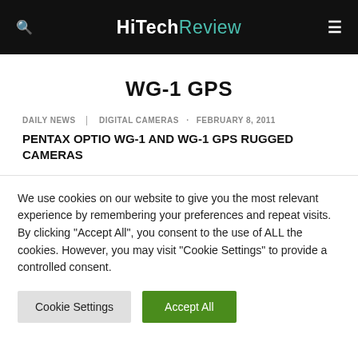HiTechReview
WG-1 GPS
DAILY NEWS   DIGITAL CAMERAS  ·  FEBRUARY 8, 2011
PENTAX OPTIO WG-1 AND WG-1 GPS RUGGED CAMERAS
We use cookies on our website to give you the most relevant experience by remembering your preferences and repeat visits. By clicking "Accept All", you consent to the use of ALL the cookies. However, you may visit "Cookie Settings" to provide a controlled consent.